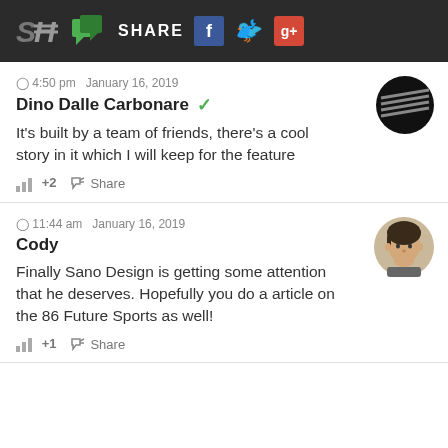SH | SHARE
4:50 pm  January 16, 2019
Dino Dalle Carbonare ✓
It's built by a team of friends, there's a cool story in it which I will keep for the feature
+2  Share
11:44 am  January 16, 2019
Cody
Finally Sano Design is getting some attention that he deserves. Hopefully you do a article on the 86 Future Sports as well!
+1  Share